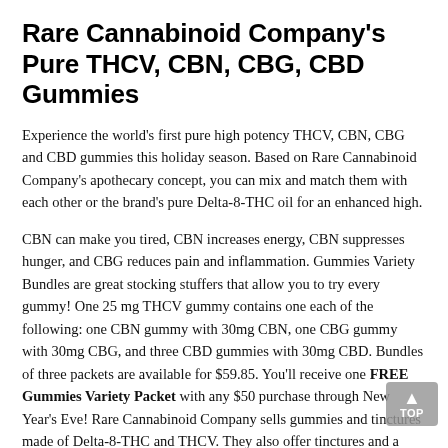Rare Cannabinoid Company's Pure THCV, CBN, CBG, CBD Gummies
Experience the world's first pure high potency THCV, CBN, CBG and CBD gummies this holiday season. Based on Rare Cannabinoid Company's apothecary concept, you can mix and match them with each other or the brand's pure Delta-8-THC oil for an enhanced high.
CBN can make you tired, CBN increases energy, CBN suppresses hunger, and CBG reduces pain and inflammation. Gummies Variety Bundles are great stocking stuffers that allow you to try every gummy! One 25 mg THCV gummy contains one each of the following: one CBN gummy with 30mg CBN, one CBG gummy with 30mg CBG, and three CBD gummies with 30mg CBD. Bundles of three packets are available for $59.85. You'll receive one FREE Gummies Variety Packet with any $50 purchase through New Year's Eve! Rare Cannabinoid Company sells gummies and tinctures made of Delta-8-THC and THCV. They also offer tinctures and a